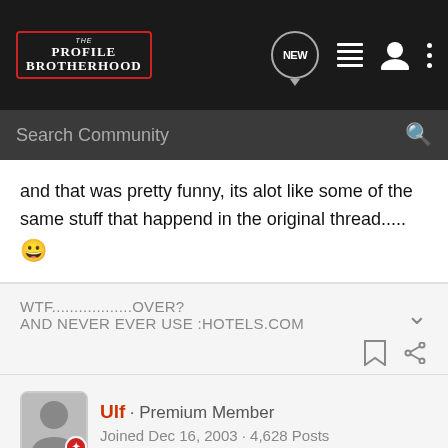The Profile Brotherhood — navigation bar with logo, NEW chat button, list icon, user icon, more options
Search Community
and that was pretty funny, its alot like some of the same stuff that happend in the original thread..... 😀
WTF..................OVER?
AND NEVER EVER USE :HOTELS.COM
Ulf · Premium Member
Joined Dec 16, 2003 · 4,628 Posts
#7 · Aug 28, 2004
oh, I found some photoshop material too :twisted: :lol: